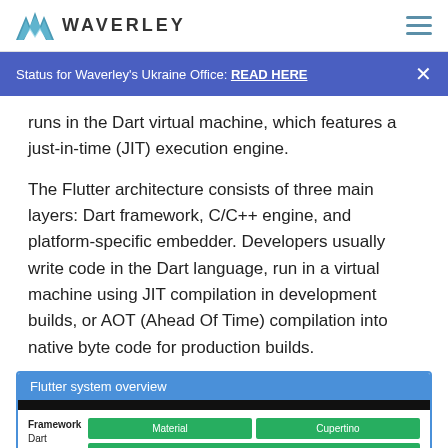WAVERLEY
Status for Waverley's Ukraine Office: READ HERE
runs in the Dart virtual machine, which features a just-in-time (JIT) execution engine.
The Flutter architecture consists of three main layers: Dart framework, C/C++ engine, and platform-specific embedder. Developers usually write code in the Dart language, run in a virtual machine using JIT compilation in development builds, or AOT (Ahead Of Time) compilation into native byte code for production builds.
[Figure (infographic): Flutter system overview diagram showing Framework (Dart) layer with Material and Cupertino sections, and a Widgets row below.]